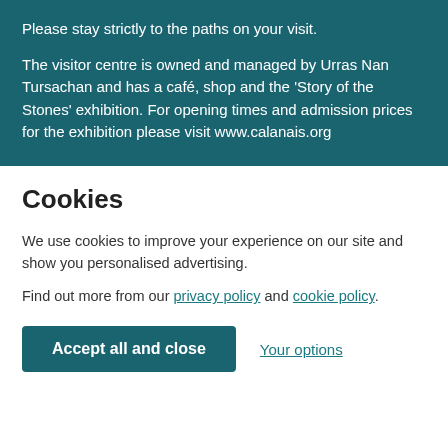Please stay strictly to the paths on your visit.
The visitor centre is owned and managed by Urras Nan Tursachan and has a café, shop and the 'Story of the Stones' exhibition. For opening times and admission prices for the exhibition please visit www.calanais.org
Cookies
We use cookies to improve your experience on our site and show you personalised advertising.
Find out more from our privacy policy and cookie policy.
Accept all and close   Your options